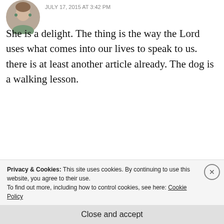[Figure (photo): Circular avatar photo of a woman with earrings, cropped to circle]
JULY 17, 2015 AT 3:42 PM
She is a delight. The thing is the way the Lord uses what comes into our lives to speak to us. there is at least another article already. The dog is a walking lesson.
Liked by 1 person
REPLY
[Figure (photo): Circular avatar photo showing grapes and leaves]
Nancy Bentz
Privacy & Cookies: This site uses cookies. By continuing to use this website, you agree to their use. To find out more, including how to control cookies, see here: Cookie Policy
Close and accept